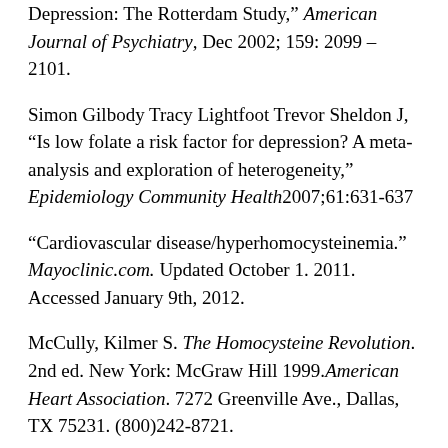Depression: The Rotterdam Study," American Journal of Psychiatry, Dec 2002; 159: 2099 – 2101.
Simon Gilbody Tracy Lightfoot Trevor Sheldon J, "Is low folate a risk factor for depression? A meta-analysis and exploration of heterogeneity," Epidemiology Community Health2007;61:631-637
"Cardiovascular disease/hyperhomocysteinemia." Mayoclinic.com. Updated October 1. 2011. Accessed January 9th, 2012.
McCully, Kilmer S. The Homocysteine Revolution. 2nd ed. New York: McGraw Hill 1999.American Heart Association. 7272 Greenville Ave., Dallas, TX 75231. (800)242-8721.